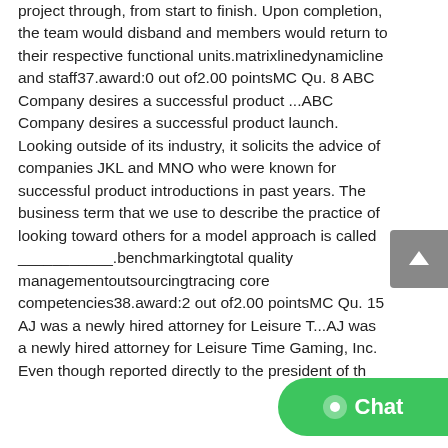project through, from start to finish. Upon completion, the team would disband and members would return to their respective functional units.matrixlinedynamicline and staff37.award:0 out of2.00 pointsMC Qu. 8 ABC Company desires a successful product ...ABC Company desires a successful product launch. Looking outside of its industry, it solicits the advice of companies JKL and MNO who were known for successful product introductions in past years. The business term that we use to describe the practice of looking toward others for a model approach is called ___________.benchmarkingtotal quality managementoutsourcingtracing core competencies38.award:2 out of2.00 pointsMC Qu. 15 AJ was a newly hired attorney for Leisure T...AJ was a newly hired attorney for Leisure Time Gaming, Inc. Even though reported directly to the president of th